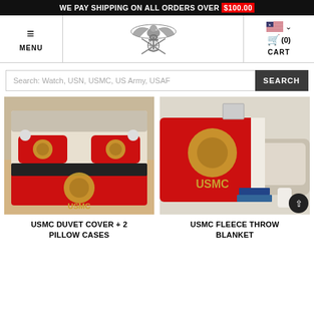WE PAY SHIPPING ON ALL ORDERS OVER $100.00
[Figure (screenshot): Navigation bar with hamburger menu (MENU), military emblem logo in center, US flag dropdown and cart (0) on the right]
[Figure (screenshot): Search bar with placeholder text 'Search: Watch, USN, USMC, US Army, USAF' and SEARCH button]
[Figure (photo): USMC Duvet Cover with 2 Pillow Cases - red bedding set with USMC eagle globe anchor emblem on a bed]
USMC DUVET COVER + 2 PILLOW CASES
[Figure (photo): USMC Fleece Throw Blanket - red blanket with large gold USMC eagle globe anchor emblem draped over a sofa]
USMC FLEECE THROW BLANKET